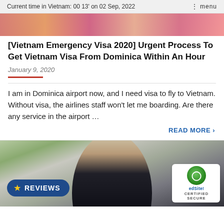Current time in Vietnam: 00 13' on 02 Sep, 2022   ⋮ menu
[Figure (photo): Top portion of a photo showing people, partially cropped]
[Vietnam Emergency Visa 2020] Urgent Process To Get Vietnam Visa From Dominica Within An Hour
January 9, 2020
I am in Dominica airport now, and I need visa to fly to Vietnam. Without visa, the airlines staff won't let me boarding. Are there any service in the airport …
READ MORE ›
[Figure (photo): Photo of a smiling woman with blonde hair wearing a black top, with a Reviews badge overlay and TrustedSite certified secure badge]